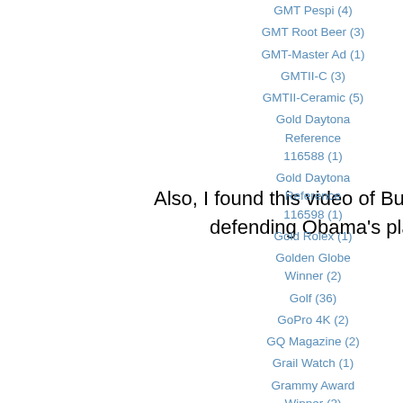Also, I found this video of Buzz Aldrin defending Obama's plan
GMT Pespi (4)
GMT Root Beer (3)
GMT-Master Ad (1)
GMTII-C (3)
GMTII-Ceramic (5)
Gold Daytona Reference 116588 (1)
Gold Daytona Reference 116598 (1)
Gold Rolex (1)
Golden Globe Winner (2)
Golf (36)
GoPro 4K (2)
GQ Magazine (2)
Grail Watch (1)
Grammy Award Winner (2)
Grand Am Racing
Coul